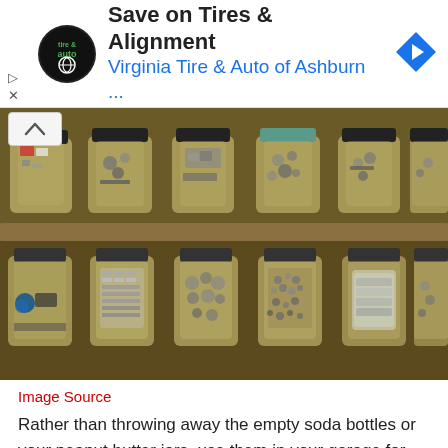[Figure (other): Advertisement banner for Virginia Tire & Auto of Ashburn with logo, heading 'Save on Tires & Alignment', subtitle 'Virginia Tire & Auto of Ashburn ...', and a blue navigation arrow icon]
[Figure (photo): Photo of multiple glass jars filled with various hardware items (screws, nuts, bolts, small parts) stored on wooden shelves in two rows]
Image Source
Rather than throwing away the empty soda bottles or your peanut butter jars, use them in your garage for storage. This way, neither you will increase your carbon